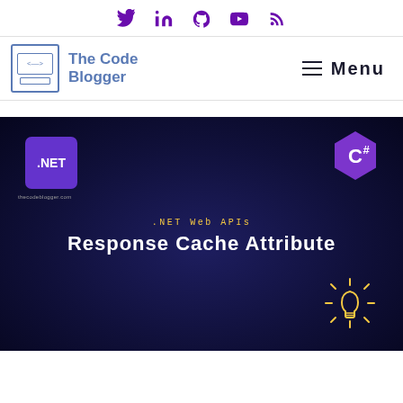Social icons: Twitter, LinkedIn, GitHub, YouTube, RSS
The Code Blogger — Menu
[Figure (illustration): Hero banner with dark navy background, .NET purple badge top-left, C# hexagon logo top-right, website URL 'thecodeblogger.com', subtitle '.NET Web APIs', title 'Response Cache Attribute', and light bulb icon bottom-right]